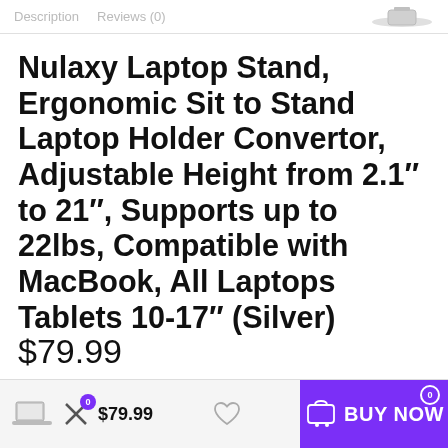Description   Reviews (0)
Nulaxy Laptop Stand, Ergonomic Sit to Stand Laptop Holder Convertor, Adjustable Height from 2.1″ to 21″, Supports up to 22lbs, Compatible with MacBook, All Laptops Tablets 10-17″ (Silver)
$79.99
$79.99   BUY NOW